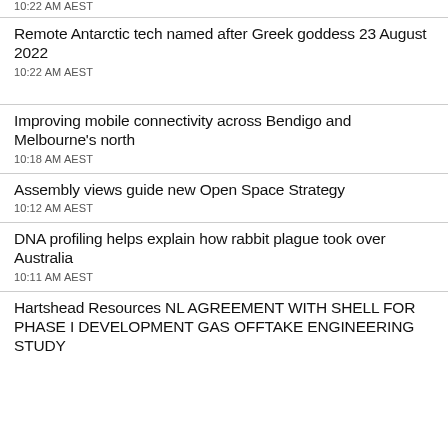10:22 AM AEST
Remote Antarctic tech named after Greek goddess 23 August 2022
10:22 AM AEST
Improving mobile connectivity across Bendigo and Melbourne's north
10:18 AM AEST
Assembly views guide new Open Space Strategy
10:12 AM AEST
DNA profiling helps explain how rabbit plague took over Australia
10:11 AM AEST
Hartshead Resources NL AGREEMENT WITH SHELL FOR PHASE I DEVELOPMENT GAS OFFTAKE ENGINEERING STUDY